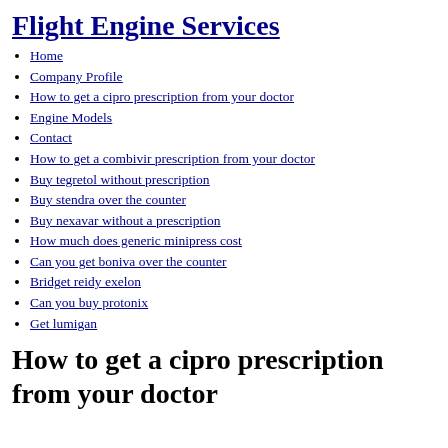Flight Engine Services
Home
Company Profile
How to get a cipro prescription from your doctor
Engine Models
Contact
How to get a combivir prescription from your doctor
Buy tegretol without prescription
Buy stendra over the counter
Buy nexavar without a prescription
How much does generic minipress cost
Can you get boniva over the counter
Bridget reidy exelon
Can you buy protonix
Get lumigan
How to get a cipro prescription from your doctor